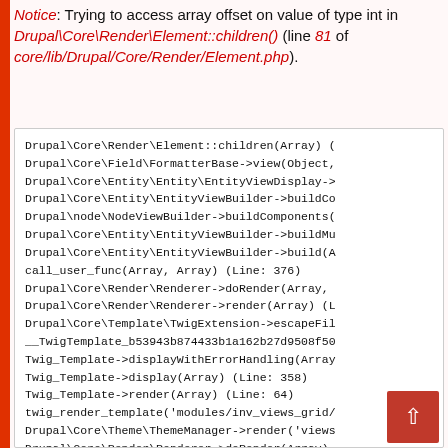Notice: Trying to access array offset on value of type int in Drupal\Core\Render\Element::children() (line 81 of core/lib/Drupal/Core/Render/Element.php).
[Figure (screenshot): Code/stack trace box showing Drupal PHP error stack trace with monospace font on white background]